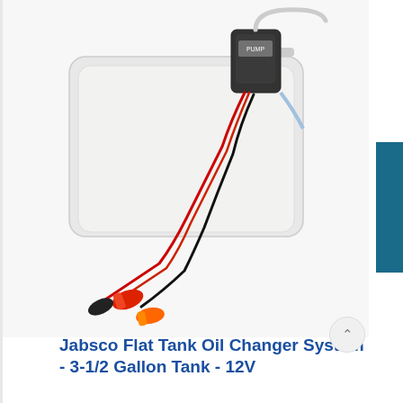[Figure (photo): Product photo of Jabsco Flat Tank Oil Changer System showing a white flat tank with an electric pump mounted on top and red/black jumper cable style connectors.]
Jabsco Flat Tank Oil Changer System - 3-1/2 Gallon Tank - 12V
Flat Tank Oil Changer SystemThe Jabsco Flat Tank Oil Changer System simplifies the engine oil changing process, ideal for changing engine oil in Boats, RV's, Lawn and Garden Equipment.There is no need......
Availability: In stock
[Figure (logo): Jabsco brand logo — blue arrow-shaped badge with white italic text 'JABSCO' and an arrow symbol]